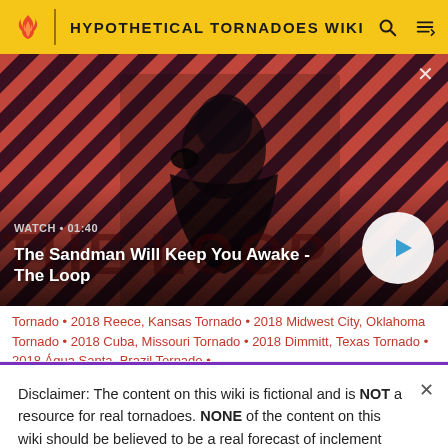HYPOTHETICAL TORNADOES WIKI
[Figure (screenshot): Video thumbnail showing a dark figure in a cape with a raven on shoulder against a red and black diagonal stripe background. Title reads 'The Sandman Will Keep You Awake - The Loop'. Watch time shows 01:40. Play button visible bottom right.]
Tornado • 2018 Reece, Kansas Tornado • 2018 Midwest City, Oklahoma Tornado • 2018 Cuba, Missouri Tornado • 2018 Dimmitt, Texas Tornado • 2018 Água Santa, Brazil Tornado •
Disclaimer: The content on this wiki is fictional and is NOT a resource for real tornadoes. NONE of the content on this wiki should be believed to be a real forecast of inclement weather.